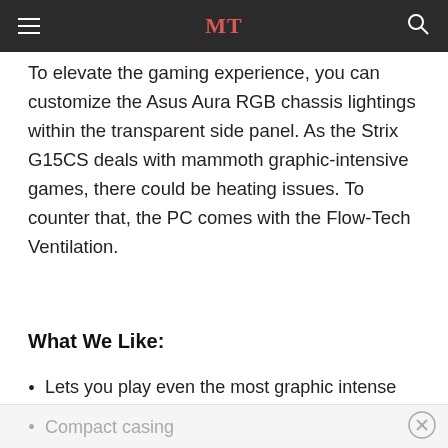MT
To elevate the gaming experience, you can customize the Asus Aura RGB chassis lightings within the transparent side panel. As the Strix G15CS deals with mammoth graphic-intensive games, there could be heating issues. To counter that, the PC comes with the Flow-Tech Ventilation.
What We Like:
Lets you play even the most graphic intense game
Solid gaming performance
Compact casing